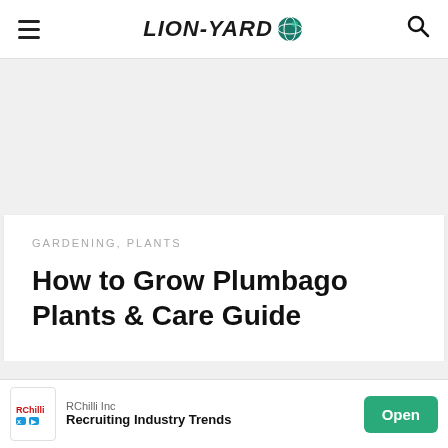LION-YARD
GARDENING, PLANTS
How to Grow Plumbago Plants & Care Guide
[Figure (photo): Photo strip showing green and pink plant foliage]
RChilli Inc — Recruiting Industry Trends — Open